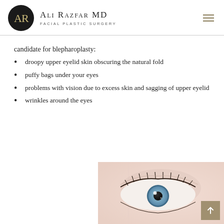Ali Razfar MD — Facial Plastic Surgery
candidate for blepharoplasty:
droopy upper eyelid skin obscuring the natural fold
puffy bags under your eyes
problems with vision due to excess skin and sagging of upper eyelid
wrinkles around the eyes
[Figure (photo): Close-up photo of a woman's eye with blue iris, light skin tone, visible eyelashes, soft focus background]